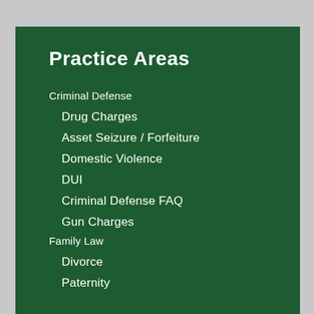Practice Areas
Criminal Defense
Drug Charges
Asset Seizure / Forfeiture
Domestic Violence
DUI
Criminal Defense FAQ
Gun Charges
Family Law
Divorce
Paternity